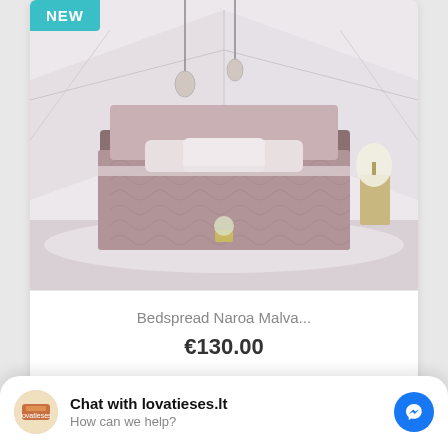[Figure (photo): Product photo of a pink/mauve bedspread on a bed in a modern bedroom setting, with pendant lights and a lamp. NEW badge in teal in top-left corner.]
Bedspread Naroa Malva...
€130.00
[Figure (photo): Partial view of a second product card showing a NEW badge in teal and the top of another bedspread product photo.]
Chat with lovatieses.lt
How can we help?